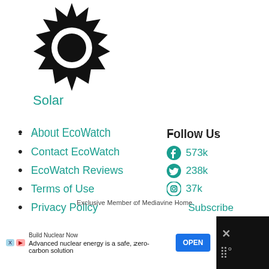[Figure (illustration): Black sun/gear icon (solar icon)]
Solar
About EcoWatch
Contact EcoWatch
EcoWatch Reviews
Terms of Use
Privacy Policy
Learn About Solar Energy
Learn About Deregulated Energy
Follow Us
573k
238k
37k
Subscribe
Exclusive Member of Mediavine Home
Build Nuclear Now
Advanced nuclear energy is a safe, zero-carbon solution